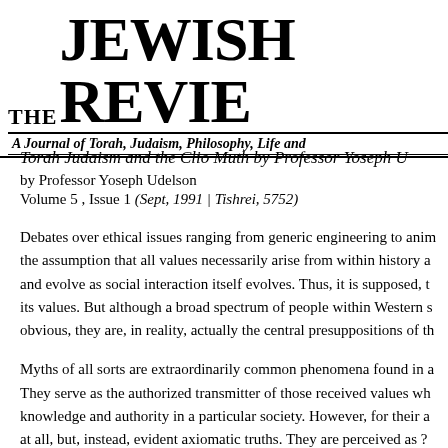THE JEWISH REVIEW — A Journal of Torah, Judaism, Philosophy, Life and...
Torah Judaism and the Clio Muth by Professor Yoseph U...
by Professor Yoseph Udelson
Volume 5 , Issue 1 (Sept, 1991 | Tishrei, 5752)
Debates over ethical issues ranging from generic engineering to anim... the assumption that all values necessarily arise from within history a... and evolve as social interaction itself evolves. Thus, it is supposed, t... its values. But although a broad spectrum of people within Western s... obvious, they are, in reality, actually the central presuppositions of th...
Myths of all sorts are extraordinarily common phenomena found in a... They serve as the authorized transmitter of those received values wh... knowledge and authority in a particular society. However, for their a... at all, but, instead, evident axiomatic truths. They are perceived as ?...